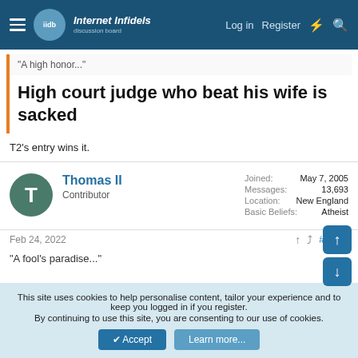Internet Infidels | Log in | Register
"A high honor..."
High court judge who beat his wife is sacked
T2's entry wins it.
Thomas II
Contributor
Joined: May 7, 2005
Messages: 13,693
Location: New England
Basic Beliefs: Atheist
Feb 24, 2022 #7,543
"A fool's paradise..."
This site uses cookies to help personalise content, tailor your experience and to keep you logged in if you register.
By continuing to use this site, you are consenting to our use of cookies.